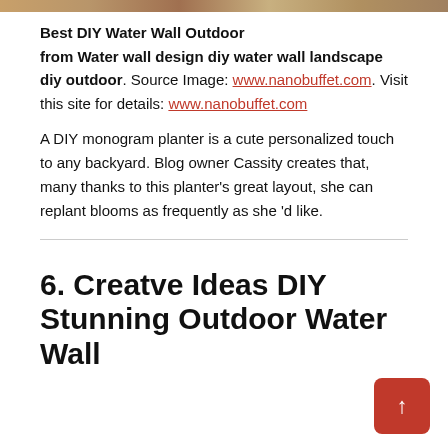[Figure (photo): Top strip of an outdoor/garden photo cropped at top of page]
Best DIY Water Wall Outdoor
from Water wall design diy water wall landscape diy outdoor. Source Image: www.nanobuffet.com. Visit this site for details: www.nanobuffet.com
A DIY monogram planter is a cute personalized touch to any backyard. Blog owner Cassity creates that, many thanks to this planter's great layout, she can replant blooms as frequently as she 'd like.
6. Creatve Ideas DIY Stunning Outdoor Water Wall